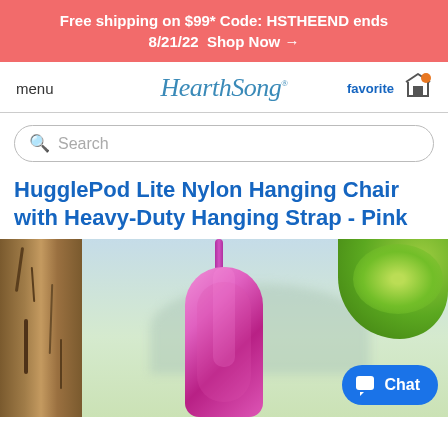Free shipping on $99* Code: HSTHEEND ends 8/21/22  Shop Now →
menu
HearthSong.
favorite
Search
HugglePod Lite Nylon Hanging Chair with Heavy-Duty Hanging Strap - Pink
[Figure (photo): Pink nylon hanging chair suspended from a tree, outdoors with green foliage and a blurred mountain background. Tree trunk visible on the left side.]